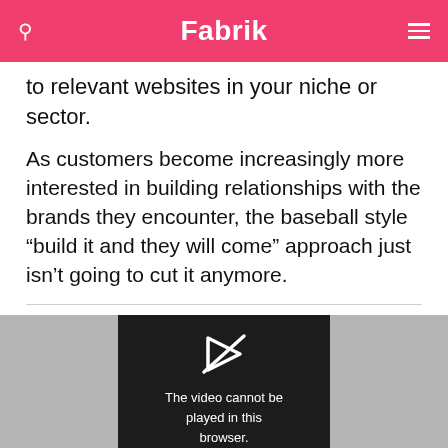Fabrik
to relevant websites in your niche or sector.
As customers become increasingly more interested in building relationships with the brands they encounter, the baseball style “build it and they will come” approach just isn’t going to cut it anymore.
[Figure (screenshot): Video player error screen showing a crossed-out play icon with text: The video cannot be played in this browser. (Error Code: 242632)]